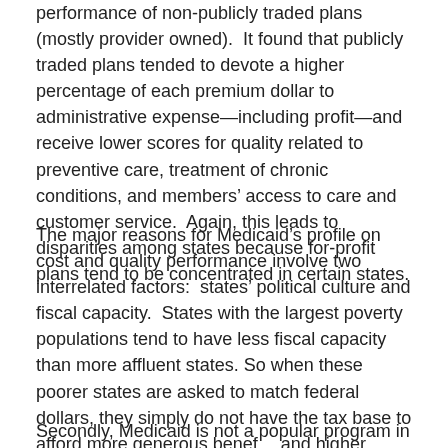performance of non-publicly traded plans (mostly provider owned).  It found that publicly traded plans tended to devote a higher percentage of each premium dollar to administrative expense—including profit—and receive lower scores for quality related to preventive care, treatment of chronic conditions, and members' access to care and customer service.  Again, this leads to disparities among states because for-profit plans tend to be concentrated in certain states.
The major reasons for Medicaid's profile on cost and quality performance involve two interrelated factors:  states' political culture and fiscal capacity.  States with the largest poverty populations tend to have less fiscal capacity than more affluent states. So when these poorer states are asked to match federal dollars, they simply do not have the tax base to afford more generous benefits and higher eligibility thresholds.
Secondly, Medicaid is not a popular program in most